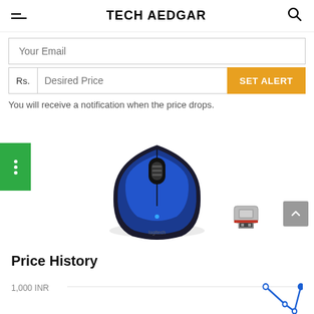TECH AEDGAR
Your Email
Rs.  Desired Price  SET ALERT
You will receive a notification when the price drops.
[Figure (photo): Logitech M235 wireless mouse in blue/black color with USB nano receiver dongle]
Price History
[Figure (line-chart): Partial line chart showing price history, y-axis label showing 1,000 INR, blue line visible at right edge]